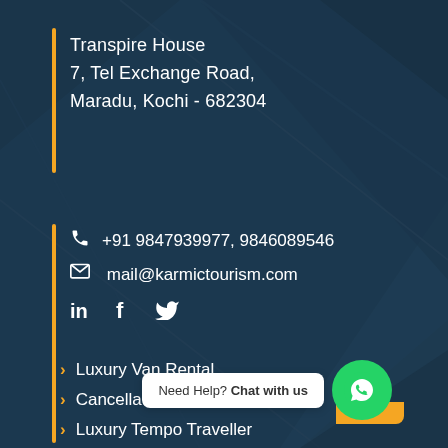Transpire House
7, Tel Exchange Road,
Maradu, Kochi - 682304
+91 9847939977, 9846089546
mail@karmictourism.com
in  f  ᵩ
Luxury Van Rental
Cancellation Policy
Luxury Tempo Traveller
Need Help? Chat with us